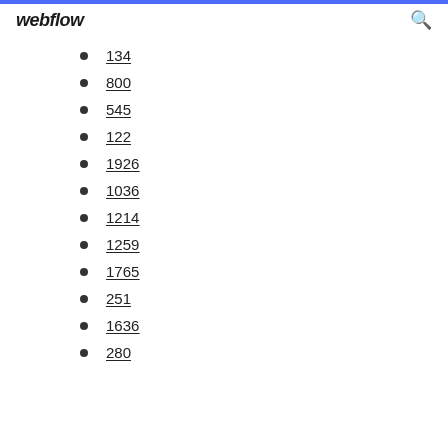webflow
134
800
545
122
1926
1036
1214
1259
1765
251
1636
280